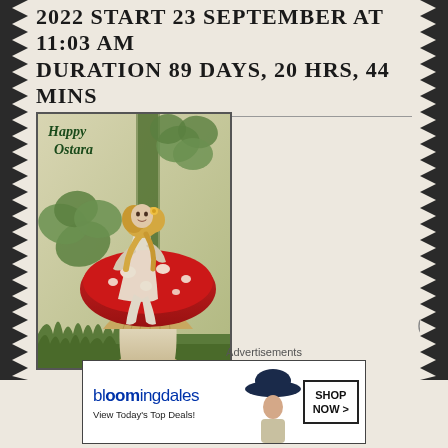2022 START 23 SEPTEMBER AT 11:03 AM DURATION 89 DAYS, 20 HRS, 44 MINS
[Figure (illustration): Vintage-style illustration of a fairy woman sitting on a red and white spotted mushroom, surrounded by four-leaf clovers and green foliage, with text 'Happy Ostara' in the upper left corner.]
Advertisements
[Figure (other): Bloomingdale's advertisement banner. Shows the Bloomingdale's logo, text 'View Today's Top Deals!', an image of a woman in a navy sun hat, and a button reading 'SHOP NOW >']